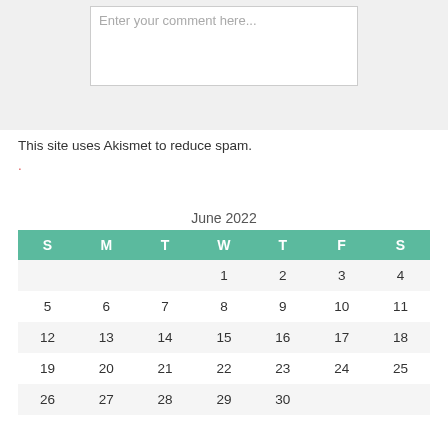[Figure (screenshot): Comment input textarea with placeholder text 'Enter your comment here...' on a light grey background]
This site uses Akismet to reduce spam.
Learn how your comment data is processed.
| S | M | T | W | T | F | S |
| --- | --- | --- | --- | --- | --- | --- |
|  |  |  | 1 | 2 | 3 | 4 |
| 5 | 6 | 7 | 8 | 9 | 10 | 11 |
| 12 | 13 | 14 | 15 | 16 | 17 | 18 |
| 19 | 20 | 21 | 22 | 23 | 24 | 25 |
| 26 | 27 | 28 | 29 | 30 |  |  |